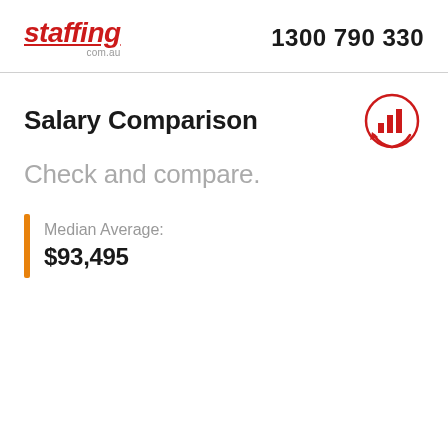staffing.com.au  1300 790 330
Salary Comparison
Check and compare.
Median Average: $93,495